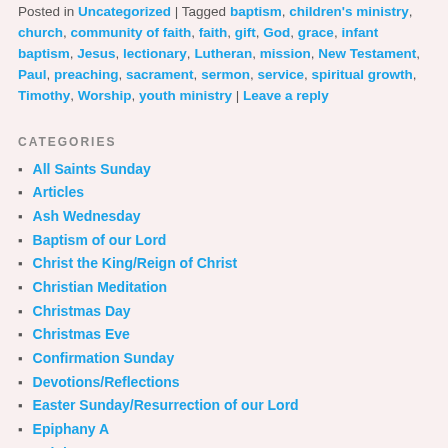Posted in Uncategorized | Tagged baptism, children's ministry, church, community of faith, faith, gift, God, grace, infant baptism, Jesus, lectionary, Lutheran, mission, New Testament, Paul, preaching, sacrament, sermon, service, spiritual growth, Timothy, Worship, youth ministry | Leave a reply
CATEGORIES
All Saints Sunday
Articles
Ash Wednesday
Baptism of our Lord
Christ the King/Reign of Christ
Christian Meditation
Christmas Day
Christmas Eve
Confirmation Sunday
Devotions/Reflections
Easter Sunday/Resurrection of our Lord
Epiphany A
Epiphany B